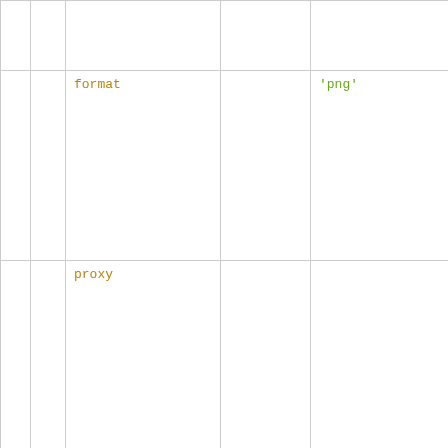|  |  |  |  |  |
|  |  | format |  | 'png' |
|  |  | proxy |  |  |
|  |  | ellipsoid |  |  |